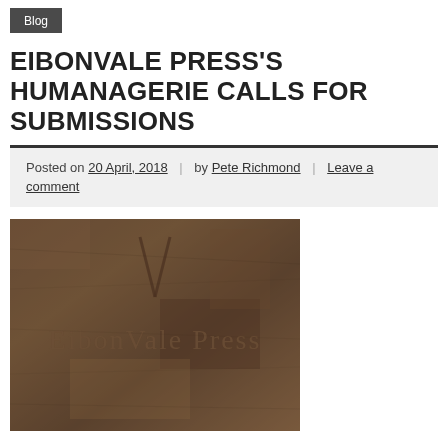Blog
EIBONVALE PRESS'S HUMANAGERIE CALLS FOR SUBMISSIONS
Posted on 20 April, 2018 | by Pete Richmond | Leave a comment
[Figure (logo): Eibonvale Press logo engraved/embossed on a dark stone or metal textured surface]
“Humanagerie” will showcase both poetry and short fiction on the theme of animals. The book will not be about animals as such, but will instead be inspired by the characteristics that animals possess, and the points